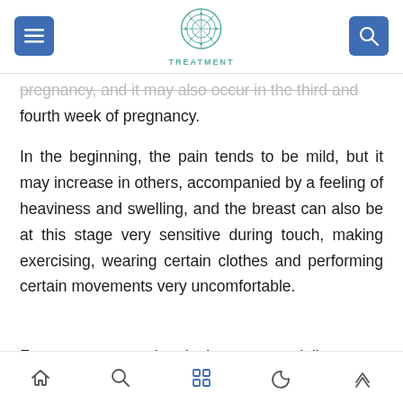TREATMENT
pregnancy, and it may also occur in the third and fourth week of pregnancy.
In the beginning, the pain tends to be mild, but it may increase in others, accompanied by a feeling of heaviness and swelling, and the breast can also be at this stage very sensitive during touch, making exercising, wearing certain clothes and performing certain movements very uncomfortable.
For many women, the nipples are especially
Navigation icons: home, search, apps, moon, up-arrow